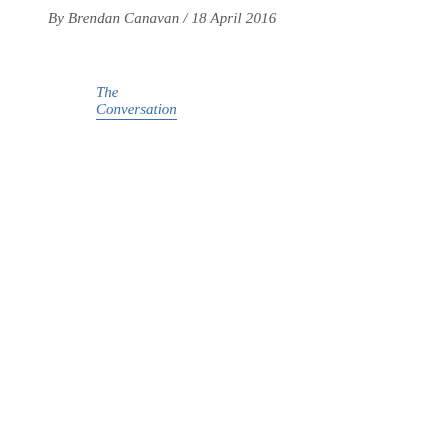By Brendan Canavan / 18 April 2016
The Conversation